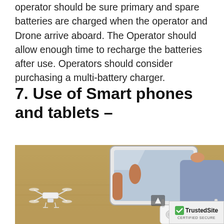operator should be sure primary and spare batteries are charged when the operator and Drone arrive aboard. The Operator should allow enough time to recharge the batteries after use. Operators should consider purchasing a multi-battery charger.
7. Use of Smart phones and tablets –
[Figure (photo): A person holding a tablet device and a drone remote controller, with a white quadcopter drone flying in the background over a dry grass field.]